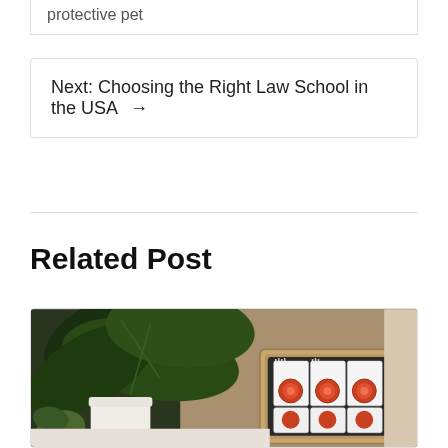protective pet
Next: Choosing the Right Law School in the USA →
Related Post
[Figure (photo): Photo of large green leafy plants in white pot next to an open briefcase/suitcase containing stacked notebooks or notepads with decorative mandala-style circular logos on them, on a table.]